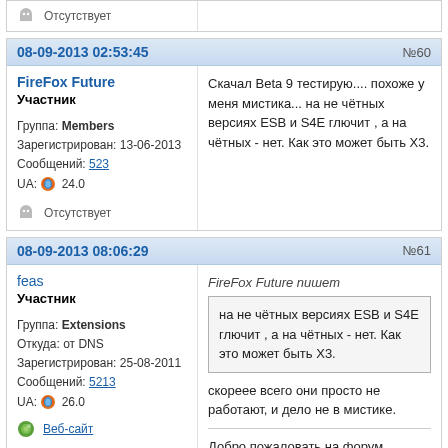Отсутствует
08-09-2013 02:53:45  №60
FireFox Future
Участник
Группа: Members
Зарегистрирован: 13-06-2013
Сообщений: 523
UA: 24.0
Отсутствует
Скачал Beta 9 тестирую.... похоже у меня мистика... на не чётных версиях ESB и S4E глючит , а на чётных - нет. Как это может быть X3.
08-09-2013 08:06:29  №61
feas
Участник
Группа: Extensions
Откуда: от DNS
Зарегистрирован: 25-08-2011
Сообщений: 5213
UA: 26.0
Веб-сайт
FireFox Future пишет
[quote] на не чётных версиях ESB и S4E глючит , а на чётных - нет. Как это может быть X3. [/quote]
скореее всего они просто не работают, и дело не в мистике.
Добро пожаловать на форум mozilla-russia.org. Здесь вы